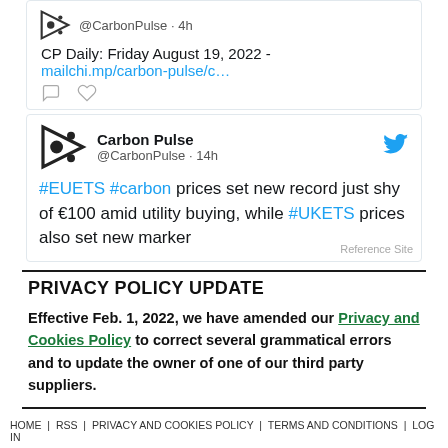[Figure (screenshot): Partial tweet from @CarbonPulse showing CP Daily: Friday August 19, 2022 link and interaction icons]
[Figure (screenshot): Tweet from Carbon Pulse @CarbonPulse 14h: #EUETS #carbon prices set new record just shy of €100 amid utility buying, while #UKETS prices also set new marker]
PRIVACY POLICY UPDATE
Effective Feb. 1, 2022, we have amended our Privacy and Cookies Policy to correct several grammatical errors and to update the owner of one of our third party suppliers.
HOME  RSS  PRIVACY AND COOKIES POLICY  TERMS AND CONDITIONS  LOG IN